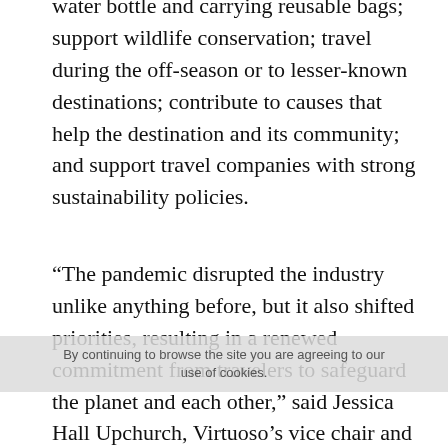food and plastic waste with measures like bringing a water bottle and carrying reusable bags; support wildlife conservation; travel during the off-season or to lesser-known destinations; contribute to causes that help the destination and its community; and support travel companies with strong sustainability policies.
“The pandemic disrupted the industry unlike anything before, but it also shifted priorities, resulting in a renewed commitment from travelers to safeguard the planet and each other,” said Jessica Hall Upchurch, Virtuoso’s vice chair and sustainability strategist. “This conscious comeback will continue to transform the way we travel, and it reaffirms our belief that travel can be a force for good.”
By continuing to browse the site you are agreeing to our use of cookies.